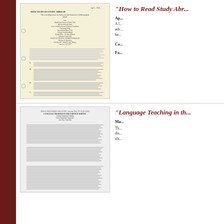"How to Read Study Abr..."
[Figure (photo): Scanned document page titled 'How to Read Study Abroad' dated April, with numbered questions and dense typewritten text on yellowed paper]
Ap...
A l... adv... be...
Co...
Fo...
"Language Teaching in th..."
[Figure (photo): Scanned document page titled 'Language Teaching in the Foreign Service' with dense typewritten text on white paper]
Ma...
Th... dis... als...